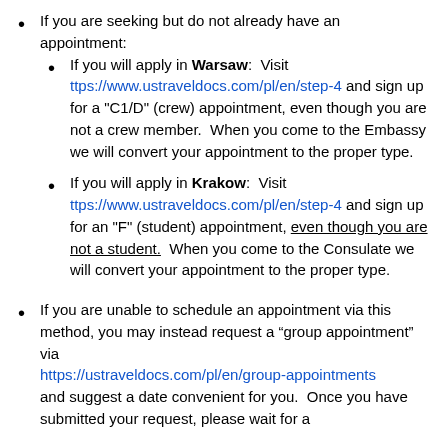If you are seeking but do not already have an appointment:
If you will apply in Warsaw:  Visit ttps://www.ustraveldocs.com/pl/en/step-4 and sign up for a "C1/D" (crew) appointment, even though you are not a crew member.  When you come to the Embassy we will convert your appointment to the proper type.
If you will apply in Krakow:  Visit ttps://www.ustraveldocs.com/pl/en/step-4 and sign up for an "F" (student) appointment, even though you are not a student.  When you come to the Consulate we will convert your appointment to the proper type.
If you are unable to schedule an appointment via this method, you may instead request a “group appointment” via https://ustraveldocs.com/pl/en/group-appointments and suggest a date convenient for you.  Once you have submitted your request, please wait for a